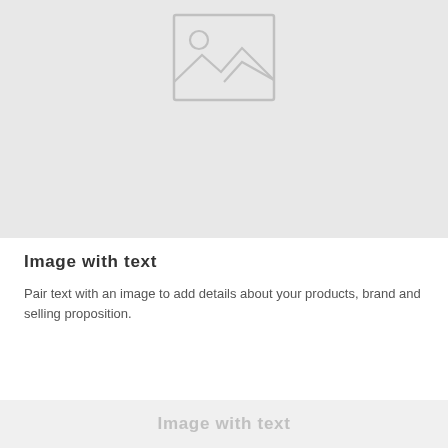[Figure (illustration): Gray placeholder image block with a simple image icon (mountains and sun outline) centered near the top of the block, on a light gray background.]
Image with text
Pair text with an image to add details about your products, brand and selling proposition.
Image with text